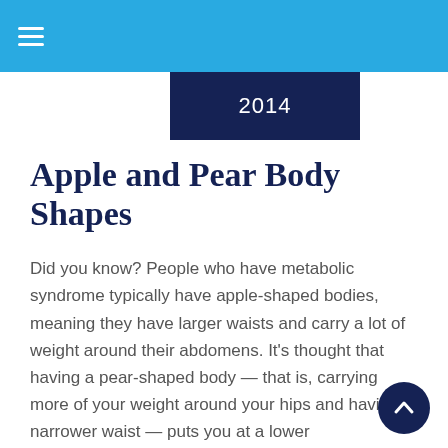≡
2014
Apple and Pear Body Shapes
Did you know? People who have metabolic syndrome typically have apple-shaped bodies, meaning they have larger waists and carry a lot of weight around their abdomens. It's thought that having a pear-shaped body — that is, carrying more of your weight around your hips and having a narrower waist — puts you at a lower